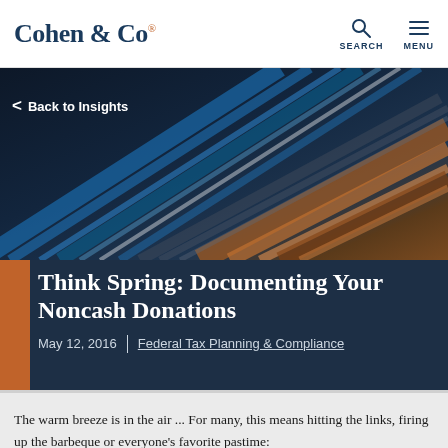Cohen & Co
[Figure (photo): Close-up abstract photo of colorful metallic rods or tubes converging at angles, with blue and copper tones, creating a dynamic radial pattern.]
Back to Insights
Think Spring: Documenting Your Noncash Donations
May 12, 2016
Federal Tax Planning & Compliance
The warm breeze is in the air ... For many, this means hitting the links, firing up the barbeque or everyone's favorite pastime: